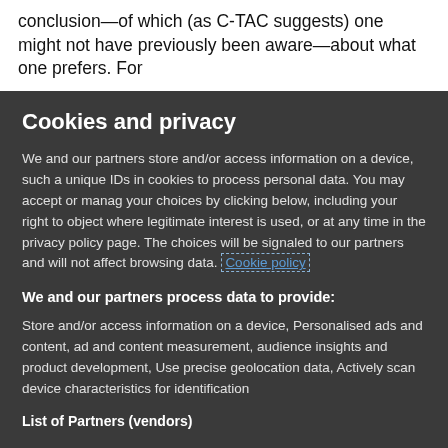conclusion—of which (as C-TAC suggests) one might not have previously been aware—about what one prefers. For
Cookies and privacy
We and our partners store and/or access information on a device, such as unique IDs in cookies to process personal data. You may accept or manage your choices by clicking below, including your right to object where legitimate interest is used, or at any time in the privacy policy page. These choices will be signaled to our partners and will not affect browsing data. Cookie policy
We and our partners process data to provide:
Store and/or access information on a device, Personalised ads and content, ad and content measurement, audience insights and product development, Use precise geolocation data, Actively scan device characteristics for identification
List of Partners (vendors)
I Accept